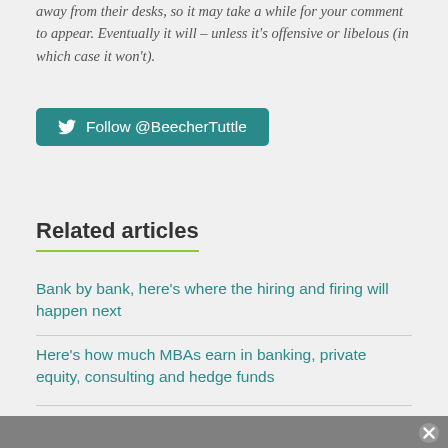away from their desks, so it may take a while for your comment to appear. Eventually it will – unless it's offensive or libelous (in which case it won't).
[Figure (other): Twitter follow button: Follow @BeecherTuttle]
Related articles
Bank by bank, here's where the hiring and firing will happen next
Here's how much MBAs earn in banking, private equity, consulting and hedge funds
Equity sales jobs are dying. But they have a little life yet